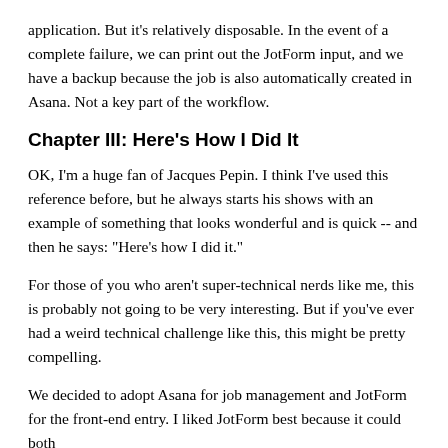application. But it's relatively disposable. In the event of a complete failure, we can print out the JotForm input, and we have a backup because the job is also automatically created in Asana. Not a key part of the workflow.
Chapter III: Here's How I Did It
OK, I'm a huge fan of Jacques Pepin. I think I've used this reference before, but he always starts his shows with an example of something that looks wonderful and is quick -- and then he says: "Here's how I did it."
For those of you who aren't super-technical nerds like me, this is probably not going to be very interesting. But if you've ever had a weird technical challenge like this, this might be pretty compelling.
We decided to adopt Asana for job management and JotForm for the front-end entry. I liked JotForm best because it could both